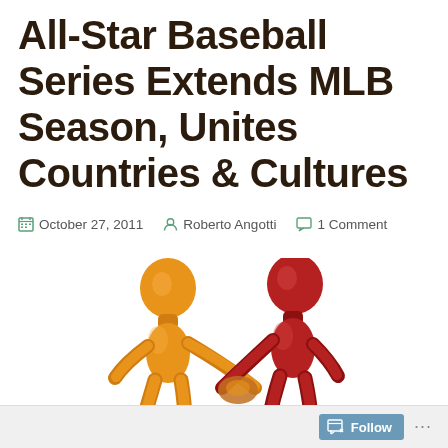All-Star Baseball Series Extends MLB Season, Unites Countries & Cultures
October 27, 2011   Roberto Angotti   1 Comment
[Figure (illustration): Two stylized 3D figures, one orange and one red, shaking hands against a white background.]
Follow ...